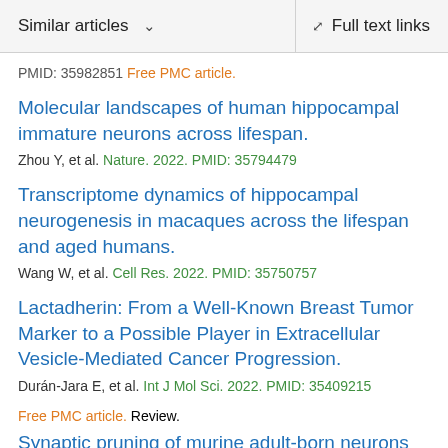Similar articles  ∨   Full text links
PMID: 35982851 Free PMC article.
Molecular landscapes of human hippocampal immature neurons across lifespan.
Zhou Y, et al. Nature. 2022. PMID: 35794479
Transcriptome dynamics of hippocampal neurogenesis in macaques across the lifespan and aged humans.
Wang W, et al. Cell Res. 2022. PMID: 35750757
Lactadherin: From a Well-Known Breast Tumor Marker to a Possible Player in Extracellular Vesicle-Mediated Cancer Progression.
Durán-Jara E, et al. Int J Mol Sci. 2022. PMID: 35409215 Free PMC article. Review.
Synaptic pruning of murine adult-born neurons by microglia depends on phosphatidylserine.